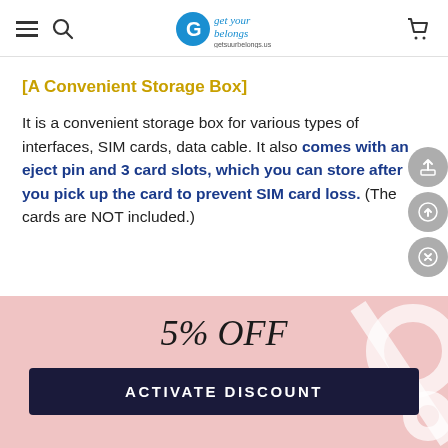[navigation bar with hamburger menu, search icon, Get Your Belongs logo, and cart icon]
[A Convenient Storage Box]
It is a convenient storage box for various types of interfaces, SIM cards, data cable. It also comes with an eject pin and 3 card slots, which you can store after you pick up the card to prevent SIM card loss. (The cards are NOT included.)
[Figure (infographic): Pink discount banner with '5% OFF' in italic script font and 'ACTIVATE DISCOUNT' button on dark navy background]
5% OFF
ACTIVATE DISCOUNT